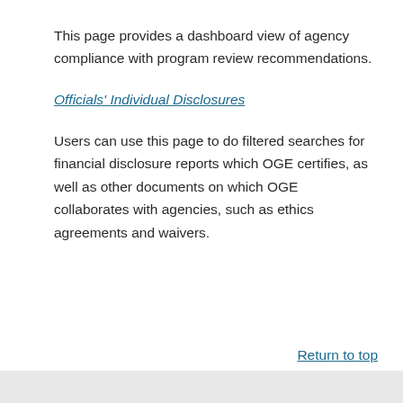This page provides a dashboard view of agency compliance with program review recommendations.
Officials’ Individual Disclosures
Users can use this page to do filtered searches for financial disclosure reports which OGE certifies, as well as other documents on which OGE collaborates with agencies, such as ethics agreements and waivers.
Return to top